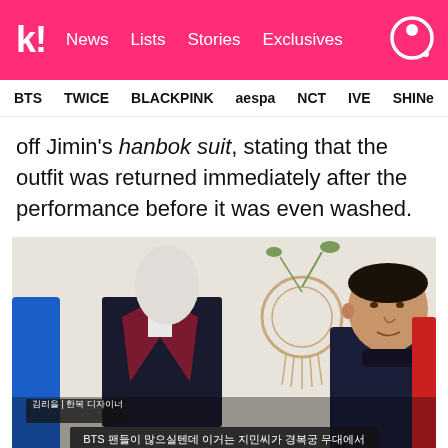k! News  Lists  Stories  Exclusives
BTS  TWICE  BLACKPINK  aespa  NCT  IVE  SHINee
off Jimin's hanbok suit, stating that the outfit was returned immediately after the performance before it was even washed.
[Figure (screenshot): TV screenshot showing a mannequin wearing a dark suit with burgundy lapels and a man in a dark blazer standing beside it. Korean subtitles at bottom read: 김리을 | 한복 디자이너 and BTS 팬들이 많으실텐데 이거는 지민씨가 경복궁 무대에서]